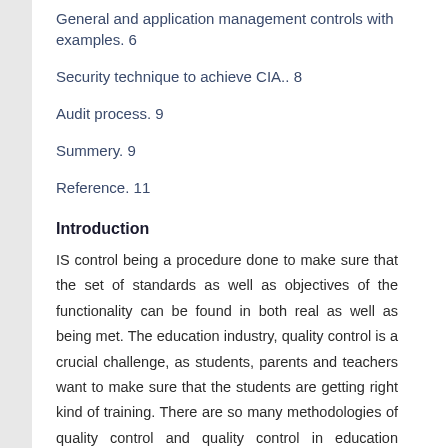General and application management controls with examples. 6
Security technique to achieve CIA.. 8
Audit process. 9
Summery. 9
Reference. 11
Introduction
IS control being a procedure done to make sure that the set of standards as well as objectives of the functionality can be found in both real as well as being met. The education industry, quality control is a crucial challenge, as students, parents and teachers want to make sure that the students are getting right kind of training. There are so many methodologies of quality control and quality control in education industry, consisting standard level of